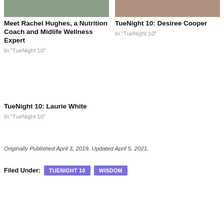[Figure (photo): Thumbnail photo for Meet Rachel Hughes article]
Meet Rachel Hughes, a Nutrition Coach and Midlife Wellness Expert
In "TueNight 10"
[Figure (photo): Thumbnail photo for TueNight 10: Desiree Cooper article]
TueNight 10: Desiree Cooper
In "TueNight 10"
TueNight 10: Laurie White
In "TueNight 10"
Originally Published April 3, 2019. Updated April 5, 2021.
Filed Under: TUENIGHT 10  WISDOM